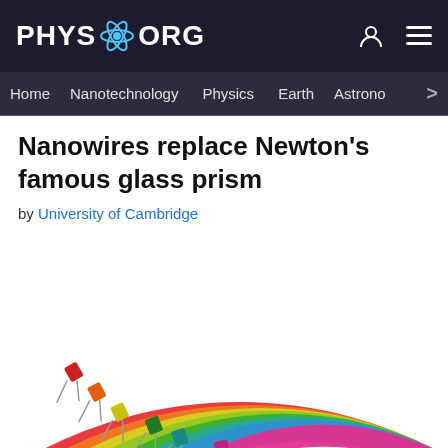PHYS.ORG
Home | Nanotechnology | Physics | Earth | Astronomy >
Nanowires replace Newton's famous glass prism
by University of Cambridge
[Figure (illustration): Colorful illustration of a rainbow arc made of colored bands (red, orange, yellow, green, teal, blue, pink) with LED components on the left side emitting the colored light beams that form the rainbow arcs.]